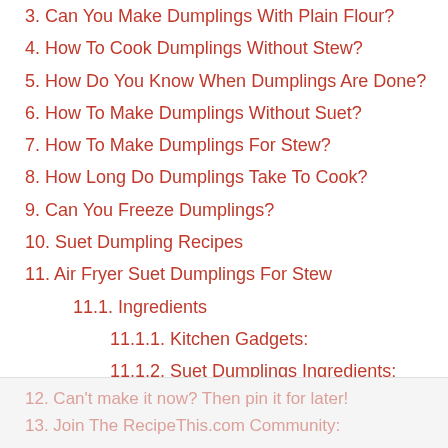3. Can You Make Dumplings With Plain Flour?
4. How To Cook Dumplings Without Stew?
5. How Do You Know When Dumplings Are Done?
6. How To Make Dumplings Without Suet?
7. How To Make Dumplings For Stew?
8. How Long Do Dumplings Take To Cook?
9. Can You Freeze Dumplings?
10. Suet Dumpling Recipes
11. Air Fryer Suet Dumplings For Stew
11.1. Ingredients
11.1.1. Kitchen Gadgets:
11.1.2. Suet Dumplings Ingredients:
11.2. Instructions
11.3. Notes
11.4. Nutrition
12. Can't make it now? Then pin it for later!
13. Join The RecipeThis.com Community: